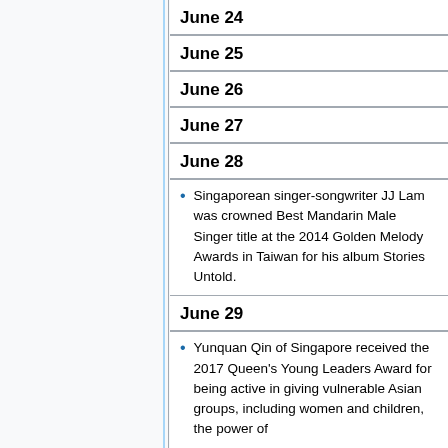June 24
June 25
June 26
June 27
June 28
Singaporean singer-songwriter JJ Lam was crowned Best Mandarin Male Singer title at the 2014 Golden Melody Awards in Taiwan for his album Stories Untold.
June 29
Yunquan Qin of Singapore received the 2017 Queen's Young Leaders Award for being active in giving vulnerable Asian groups, including women and children, the power of